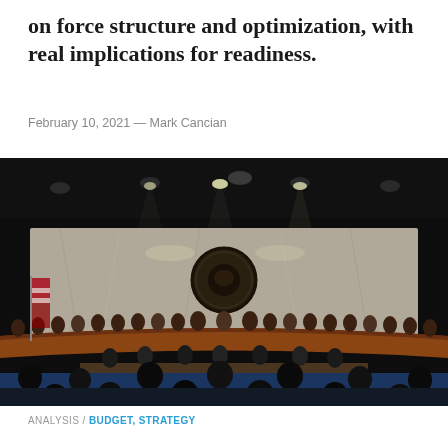on force structure and optimization, with real implications for readiness.
February 10, 2021 — Mark Cancian
[Figure (photo): Wide-angle photograph of a U.S. Senate hearing room. Senators seated in a large curved dais under dramatic ceiling lighting. Marble wall with Senate seal in background. Witnesses and staff seated at tables in foreground. American flag visible. Dark overhead lighting with spotlight effects.]
ANALYSIS / BUDGET, STRATEGY